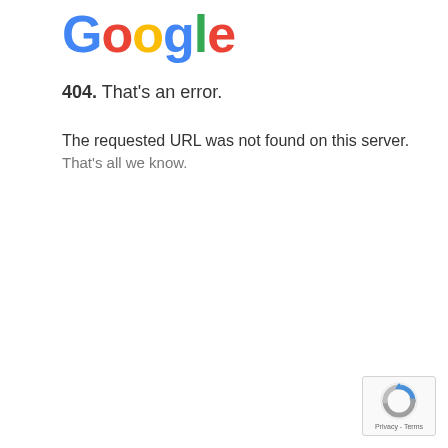[Figure (logo): Google logo in multicolor letters: blue G, red o, yellow o, blue g, green l, red e]
404. That's an error.
The requested URL was not found on this server. That's all we know.
[Figure (logo): reCAPTCHA badge with blue/grey arrow icon and Privacy - Terms text]